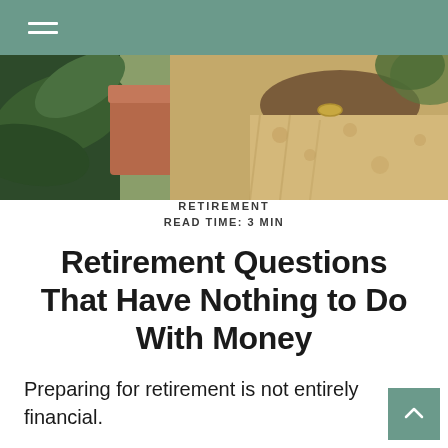☰
[Figure (photo): Person tending to potted plants, wearing a floral outfit and bracelet, with terracotta pots and green leaves visible]
RETIREMENT
READ TIME: 3 MIN
Retirement Questions That Have Nothing to Do With Money
Preparing for retirement is not entirely financial.
Your degree of happiness in your "second act" may